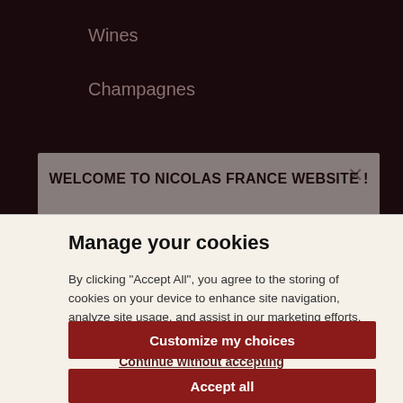Wines
Champagnes
WELCOME TO NICOLAS FRANCE WEBSITE !
Product pricing displayed on this site only applies in France (Mainland) and in some countries where we
Manage your cookies
By clicking “Accept All”, you agree to the storing of cookies on your device to enhance site navigation, analyze site usage, and assist in our marketing efforts. Cookies notice
Continue without accepting
Customize my choices
Accept all